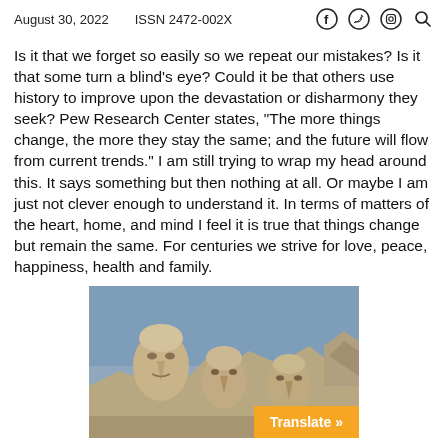August 30, 2022    ISSN 2472-002X
Is it that we forget so easily so we repeat our mistakes? Is it that some turn a blind's eye? Could it be that others use history to improve upon the devastation or disharmony they seek? Pew Research Center states, "The more things change, the more they stay the same; and the future will flow from current trends." I am still trying to wrap my head around this. It says something but then nothing at all. Or maybe I am just not clever enough to understand it. In terms of matters of the heart, home, and mind I feel it is true that things change but remain the same. For centuries we strive for love, peace, happiness, health and family.
[Figure (photo): Photo of Mount Rushmore showing carved stone faces of presidents against a blue-gray sky]